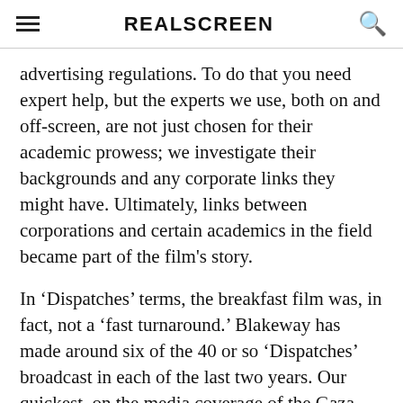REALSCREEN
advertising regulations. To do that you need expert help, but the experts we use, both on and off-screen, are not just chosen for their academic prowess; we investigate their backgrounds and any corporate links they might have. Ultimately, links between corporations and certain academics in the field became part of the film's story.
In 'Dispatches' terms, the breakfast film was, in fact, not a 'fast turnaround.' Blakeway has made around six of the 40 or so 'Dispatches' broadcast in each of the last two years. Our quickest, on the media coverage of the Gaza conflict earlier this